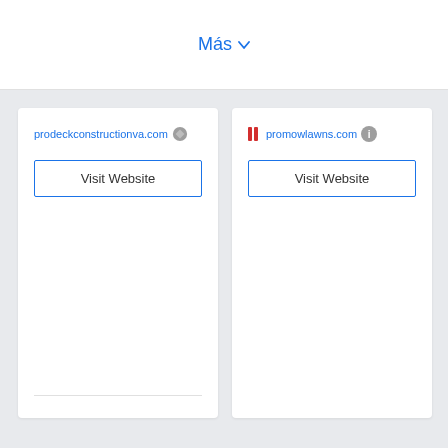Más
prodeckconstructionva.com
Visit Website
promowlawns.com
Visit Website